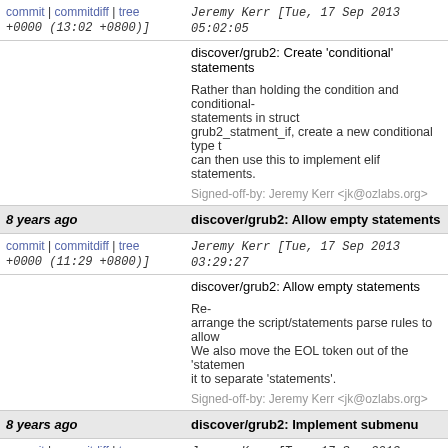commit | commitdiff | tree   Jeremy Kerr [Tue, 17 Sep 2013 05:02:05 +0000 (13:02 +0800)]
discover/grub2: Create 'conditional' statements

Rather than holding the condition and conditional-statements in struct grub2_statment_if, create a new conditional type t can then use this to implement elif statements.

Signed-off-by: Jeremy Kerr <jk@ozlabs.org>
8 years ago    discover/grub2: Allow empty statements
commit | commitdiff | tree   Jeremy Kerr [Tue, 17 Sep 2013 03:29:27 +0000 (11:29 +0800)]
discover/grub2: Allow empty statements

Re-arrange the script/statements parse rules to allow We also move the EOL token out of the 'statemen it to separate 'statements'.

Signed-off-by: Jeremy Kerr <jk@ozlabs.org>
8 years ago    discover/grub2: Implement submenu
commit | commitdiff | tree   Jeremy Kerr [Tue, 17 Sep 2013 03:14:18 +0000 (11:14 +0800)]